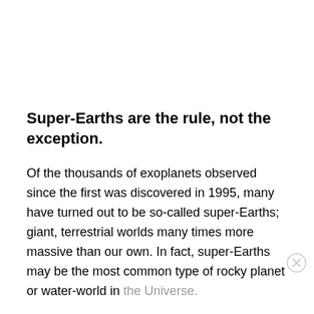Super-Earths are the rule, not the exception.
Of the thousands of exoplanets observed since the first was discovered in 1995, many have turned out to be so-called super-Earths; giant, terrestrial worlds many times more massive than our own. In fact, super-Earths may be the most common type of rocky planet or water-world in the Universe.